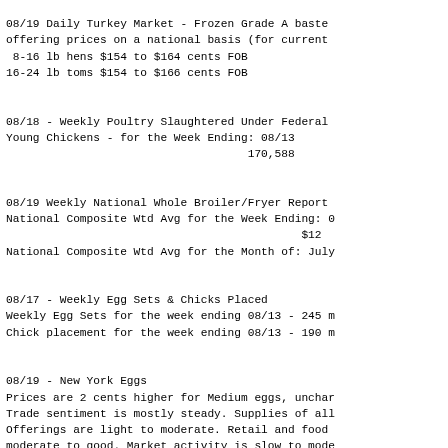08/19 Daily Turkey Market - Frozen Grade A baste
offering prices on a national basis (for current
 8-16 lb hens $154 to $164 cents FOB
16-24 lb toms $154 to $166 cents FOB
08/18 - Weekly Poultry Slaughtered Under Federal
Young Chickens - for the Week Ending: 08/13
                                    170,588
08/19 Weekly National Whole Broiler/Fryer Report
National Composite Wtd Avg for the Week Ending: 0
                                            $12
National Composite Wtd Avg for the Month of: July
08/17 - Weekly Egg Sets & Chicks Placed
Weekly Egg Sets for the week ending 08/13 - 245 m
Chick placement for the week ending 08/13 - 190 m
08/19 - New York Eggs
Prices are 2 cents higher for Medium eggs, unchar
Trade sentiment is mostly steady. Supplies of all
Offerings are light to moderate. Retail and food
moderate to good. Market activity is slow to mode
Extra Large    217-221
Large          215-219
Medium         179-183